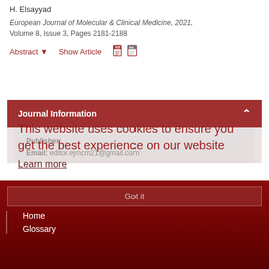H. Elsayyad
European Journal of Molecular & Clinical Medicine, 2021, Volume 8, Issue 3, Pages 2181-2188
Abstract ▾    Show Article
Journal Information
Publisher:
Email: editor.ejmcm21@gmail.com
This website uses cookies to ensure you get the best experience on our website
Learn more
Got it
Home
Glossary